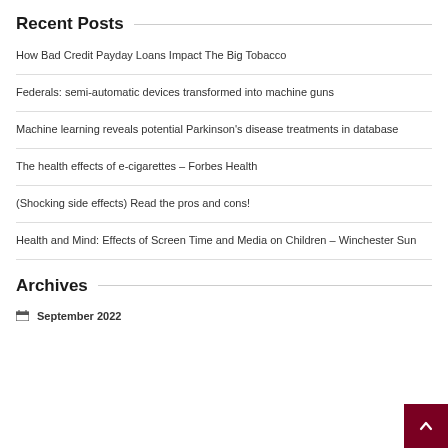Recent Posts
How Bad Credit Payday Loans Impact The Big Tobacco
Federals: semi-automatic devices transformed into machine guns
Machine learning reveals potential Parkinson's disease treatments in database
The health effects of e-cigarettes – Forbes Health
(Shocking side effects) Read the pros and cons!
Health and Mind: Effects of Screen Time and Media on Children – Winchester Sun
Archives
September 2022